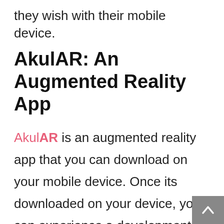they wish with their mobile device.
AkulAR: An Augmented Reality App
AkulAR is an augmented reality app that you can download on your mobile device. Once its downloaded on your device, you can experience a development with 3D augmented reality. All you have to do is upload the plans into the app, plug in the GPS coordinates of the development